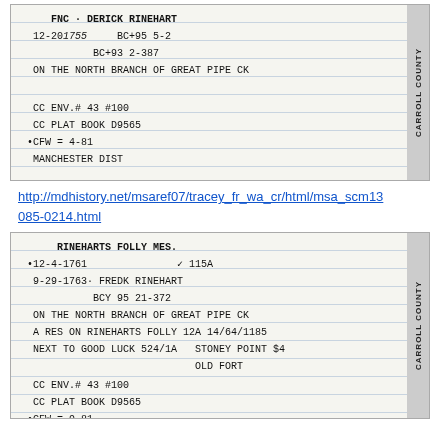[Figure (photo): Handwritten index card record for DERICK RINEHART, dated 12-20-1755, referencing BC+95 5-2, BC+93 2-387, on the North Branch of Great Pipe Creek. CC ENV.# 43 #100, CC PLAT BOOK D9565, CFW = 4-81, Manchester Dist. B.C. 4169. Carroll County label on right side.]
http://mdhistory.net/msaref07/tracey_fr_wa_cr/html/msa_scm13085-0214.html
[Figure (photo): Handwritten index card record for RINEHARTS FOLLY MES., dated 12-4-1761, 115A. 9-29-1763: FREDK RINEHART, BCY 95 21-372, on the North Branch of Great Pipe Creek. A res on Rineharts Folly 124 14/64/1185 next to Good Luck 524/1A, Stoney Point $4, Old Fort. CC ENV.#43 #100, CC Plat Book D9565, CFW = 9-81, Manchester Dist. BC 4169. Carroll County label on right side.]